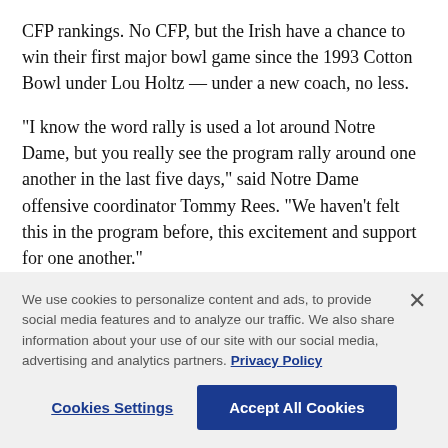CFP rankings. No CFP, but the Irish have a chance to win their first major bowl game since the 1993 Cotton Bowl under Lou Holtz — under a new coach, no less.
“I know the word rally is used a lot around Notre Dame, but you really see the program rally around one another in the last five days,” said Notre Dame offensive coordinator Tommy Rees. “We haven’t felt this in the program before, this excitement and support for one another.”
The Cowboys (11-2) were agonizingly close to
We use cookies to personalize content and ads, to provide social media features and to analyze our traffic. We also share information about your use of our site with our social media, advertising and analytics partners. Privacy Policy
Cookies Settings
Accept All Cookies